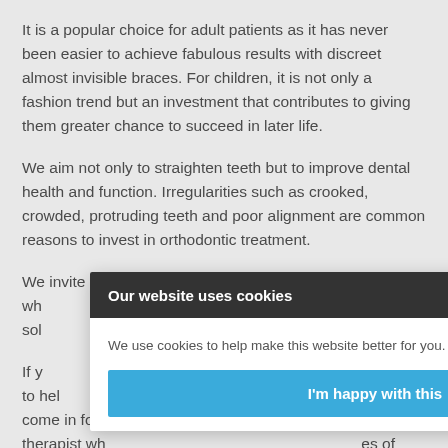It is a popular choice for adult patients as it has never been easier to achieve fabulous results with discreet almost invisible braces. For children, it is not only a fashion trend but an investment that contributes to giving them greater chance to succeed in later life.
We aim not only to straighten teeth but to improve dental health and function. Irregularities such as crooked, crowded, protruding teeth and poor alignment are common reasons to invest in orthodontic treatment.
We invite our patients to come in for an initial consultation wh[...] ore all orthodontic sol[...] ment options.
If y[...] s the right choice to hel[...] vite you to come in for[...] qualified therapist wh[...] es of braces, photos
[Figure (screenshot): Cookie consent modal popup overlay on a dental/orthodontic website. Dark grey header bar reads 'Our website uses cookies' with a white X close button. Body text says 'We use cookies to help make this website better for you. Review/change cookie settings' with a blue hyperlink. A bright blue button at bottom reads 'I'm happy with this'.]